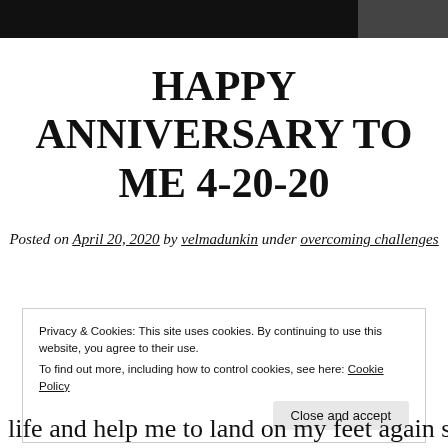HAPPY ANNIVERSARY TO ME 4-20-20
Posted on April 20, 2020 by velmadunkin under overcoming challenges
Privacy & Cookies: This site uses cookies. By continuing to use this website, you agree to their use.
To find out more, including how to control cookies, see here: Cookie Policy
Close and accept
life and help me to land on my feet again spiritually